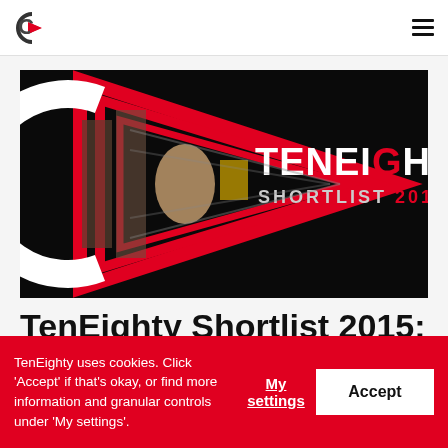TenEighty logo and navigation menu
[Figure (logo): TenEighty Shortlist 2015 branded image: black background with red geometric triangles forming a play button arrow, white C-shaped circle logo, person visible behind bars/grid, text TENEIGHTY SHORTLIST 2015 in white and red]
TenEighty Shortlist 2015:
TenEighty uses cookies. Click 'Accept' if that's okay, or find more information and granular controls under 'My settings'.